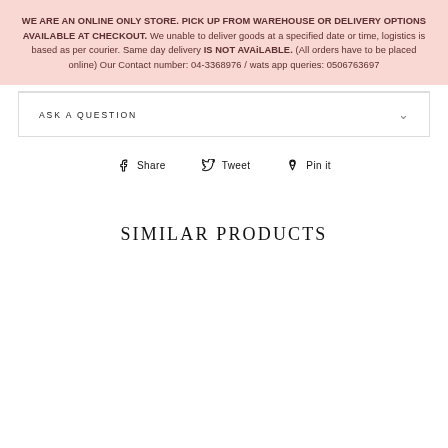WE ARE AN ONLINE ONLY STORE. PICK UP FROM WAREHOUSE OR DELIVERY OPTIONS AVAILABLE AT CHECKOUT. We unable to deliver goods at a specified date or time, logistics is based as per courier. Same day delivery IS NOT AVAiLABLE. (All orders have to be placed online) Our Contact number: 04-3368976 / wats app queries: 0506763697
ASK A QUESTION
Share
Tweet
Pin it
SIMILAR PRODUCTS